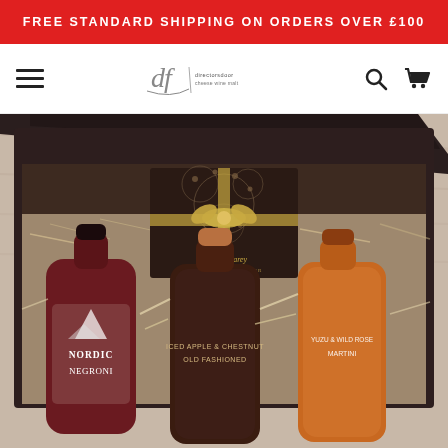FREE STANDARD SHIPPING ON ORDERS OVER £100
[Figure (logo): df (directorsdoor / cheese wine malt) script logo in center of navigation bar with hamburger menu left and search/cart icons right]
[Figure (photo): Open dark brown gift box containing three cocktail bottles (Nordic Negroni, Iced Apple & Chestnut Old Fashioned, Yuzu & Wild Rose Martini) and a William Carey Belgian Chocolatier chocolate box with gold ribbon, packed with white shredded paper filler, on a hessian surface]